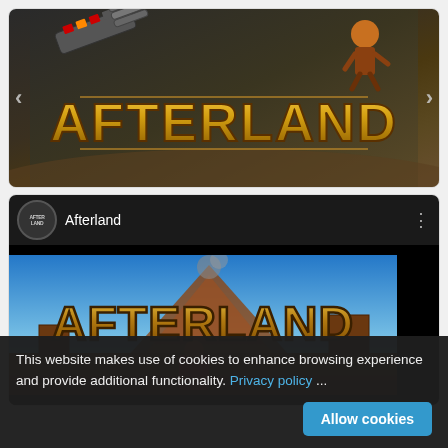[Figure (screenshot): Afterland game banner with stylized gold AFTERLAND text, game characters, a minigun weapon on dark background, with left and right navigation arrows]
[Figure (screenshot): YouTube-style video embed showing Afterland game channel header with avatar, channel name 'Afterland', three-dot menu, and a gameplay screenshot showing AFTERLAND text on a colorful game scene]
This website makes use of cookies to enhance browsing experience and provide additional functionality. Privacy policy ... Allow cookies